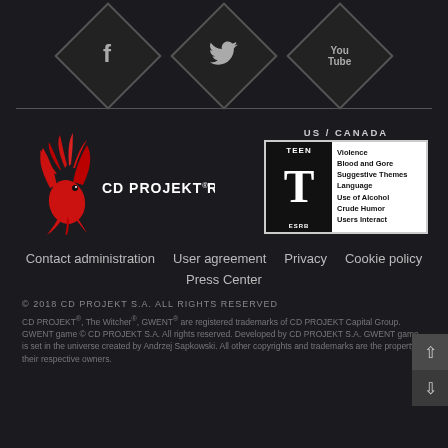[Figure (logo): Social media icons row: Facebook (f), Twitter (bird), YouTube (You/Tube) — each in a dark diamond shape with gray border]
[Figure (logo): CD PROJEKT RED logo with red phoenix bird and white text 'CD PROJEKT RED®']
[Figure (infographic): ESRB rating box: US/CANADA, TEEN rated with T symbol, descriptors: Violence, Blood and Gore, Suggestive Themes, Language, Use of Alcohol, Crude Humor, Users Interact]
Contact administration   User agreement   Privacy   Cookie policy
Press Center
© 2018 CD PROJEKT S.A. ALL RIGHTS RESERVED
CD PROJEKT®, The Witcher®, GWENT® are registered trademarks of CD PROJEKT Capital Group. GWENT game © CD PROJEKT S.A. All rights reserved. Developed by CD PROJEKT S.A. GWENT game is set in the universe created by Andrzej Sapkowski. All other copyrights and trademarks are the property of their respective owners.